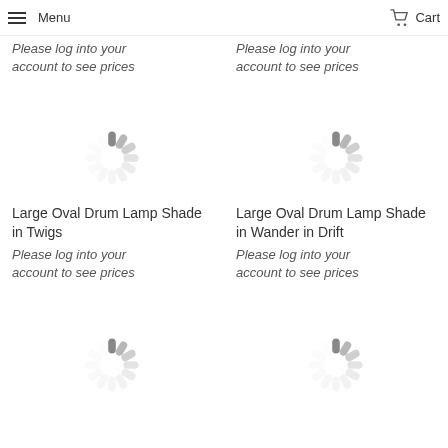Menu  Cart
Please log into your account to see prices
Please log into your account to see prices
[Figure (illustration): Loading spinner icon (circular grey radial lines)]
[Figure (illustration): Loading spinner icon (circular grey radial lines)]
Large Oval Drum Lamp Shade in Twigs
Large Oval Drum Lamp Shade in Wander in Drift
Please log into your account to see prices
Please log into your account to see prices
[Figure (illustration): Loading spinner icon (circular grey radial lines)]
[Figure (illustration): Loading spinner icon (circular grey radial lines)]